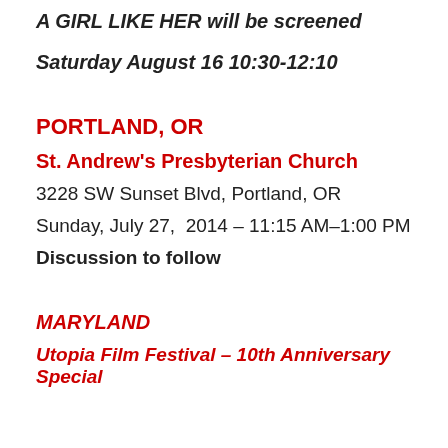A GIRL LIKE HER will be screened
Saturday August 16 10:30-12:10
PORTLAND, OR
St. Andrew's Presbyterian Church
3228 SW Sunset Blvd, Portland, OR
Sunday, July 27,  2014 – 11:15 AM–1:00 PM
Discussion to follow
MARYLAND
Utopia Film Festival – 10th Anniversary Special